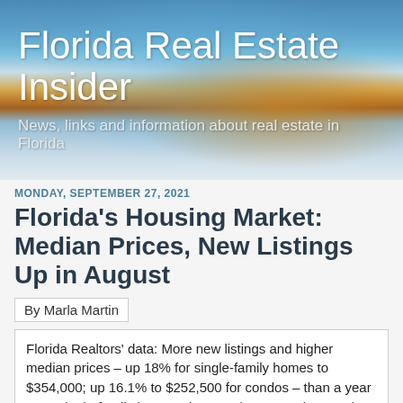Florida Real Estate Insider
News, links and information about real estate in Florida
MONDAY, SEPTEMBER 27, 2021
Florida’s Housing Market: Median Prices, New Listings Up in August
By Marla Martin
Florida Realtors’ data: More new listings and higher median prices – up 18% for single-family homes to $354,000; up 16.1% to $252,500 for condos – than a year ago. Single-family home sales rose just 0.2%, but condo sales were up 13.1%. Chief Economist O’Connor: Condo-townhouse market “remains the hotter market for now.”
ORLANDO, Fla. – Florida’s housing market reported